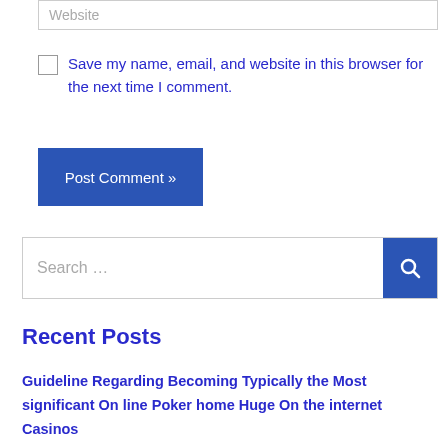Website
Save my name, email, and website in this browser for the next time I comment.
Post Comment »
Search …
Recent Posts
Guideline Regarding Becoming Typically the Most significant On line Poker home Huge On the internet Casinos